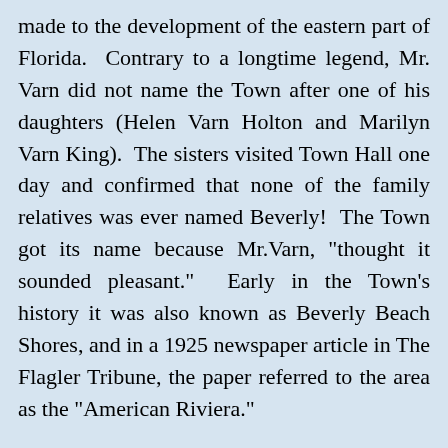made to the development of the eastern part of Florida. Contrary to a longtime legend, Mr. Varn did not name the Town after one of his daughters (Helen Varn Holton and Marilyn Varn King). The sisters visited Town Hall one day and confirmed that none of the family relatives was ever named Beverly! The Town got its name because Mr.Varn, "thought it sounded pleasant." Early in the Town's history it was also known as Beverly Beach Shores, and in a 1925 newspaper article in The Flagler Tribune, the paper referred to the area as the "American Riviera."
Beverly Beach was incorporated as a sovereign municipality on June 23, 1955. Mr. Varn served as the Town Attorney, and its inaugural Mayor was Stanley L. Farnsworth. Now home to just over 400